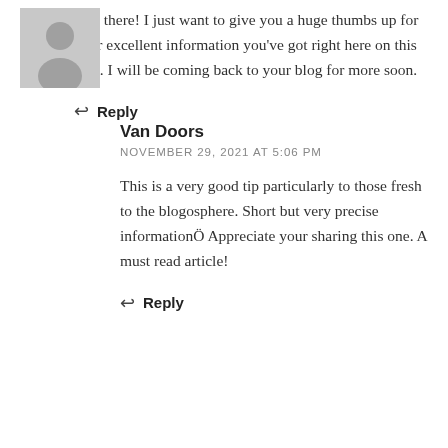Hey there! I just want to give you a huge thumbs up for your excellent information you've got right here on this post. I will be coming back to your blog for more soon.
↩ Reply
Van Doors
NOVEMBER 29, 2021 AT 5:06 PM
This is a very good tip particularly to those fresh to the blogosphere. Short but very precise informationÖ Appreciate your sharing this one. A must read article!
↩ Reply